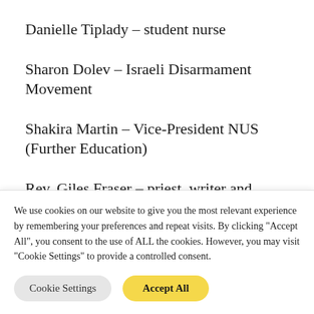Danielle Tiplady – student nurse
Sharon Dolev – Israeli Disarmament Movement
Shakira Martin – Vice-President NUS (Further Education)
Rev. Giles Fraser – priest, writer and
We use cookies on our website to give you the most relevant experience by remembering your preferences and repeat visits. By clicking "Accept All", you consent to the use of ALL the cookies. However, you may visit "Cookie Settings" to provide a controlled consent.
Cookie Settings | Accept All